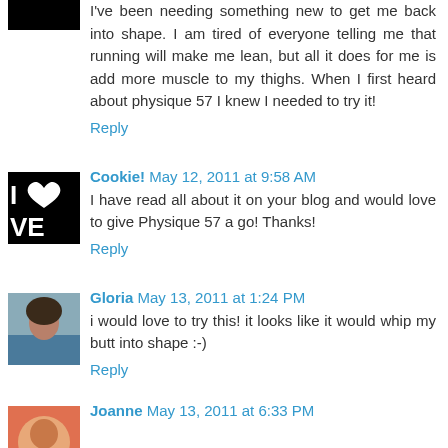I've been needing something new to get me back into shape. I am tired of everyone telling me that running will make me lean, but all it does for me is add more muscle to my thighs. When I first heard about physique 57 I knew I needed to try it!
Reply
Cookie! May 12, 2011 at 9:58 AM
I have read all about it on your blog and would love to give Physique 57 a go! Thanks!
Reply
Gloria May 13, 2011 at 1:24 PM
i would love to try this! it looks like it would whip my butt into shape :-)
Reply
Joanne May 13, 2011 at 6:33 PM